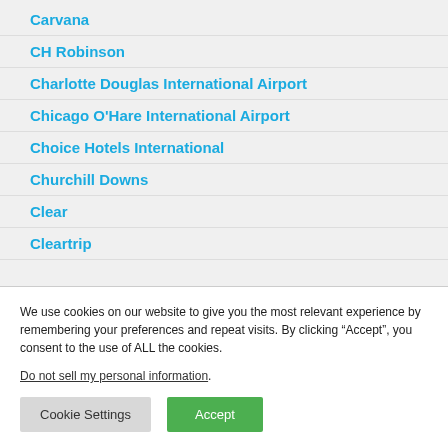Carvana
CH Robinson
Charlotte Douglas International Airport
Chicago O'Hare International Airport
Choice Hotels International
Churchill Downs
Clear
Cleartrip
We use cookies on our website to give you the most relevant experience by remembering your preferences and repeat visits. By clicking “Accept”, you consent to the use of ALL the cookies.
Do not sell my personal information.
Cookie Settings | Accept